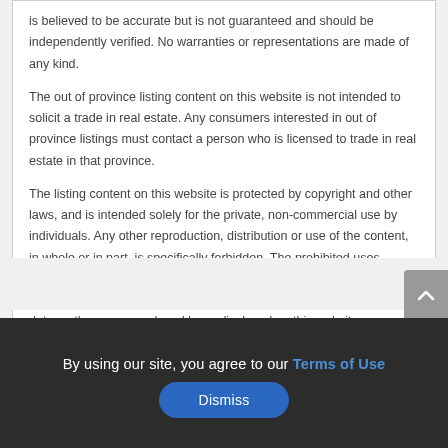is believed to be accurate but is not guaranteed and should be independently verified. No warranties or representations are made of any kind.
The out of province listing content on this website is not intended to solicit a trade in real estate. Any consumers interested in out of province listings must contact a person who is licensed to trade in real estate in that province.
The listing content on this website is protected by copyright and other laws, and is intended solely for the private, non-commercial use by individuals. Any other reproduction, distribution or use of the content, in whole or in part, is specifically forbidden. The prohibited uses include commercial use, “screen scraping”, “database scraping”, and any other activity intended to collect, store, reorganize or manipulate data on the pages produced by or displayed on this website.
By using our site, you agree to our Terms of Use
Dismiss